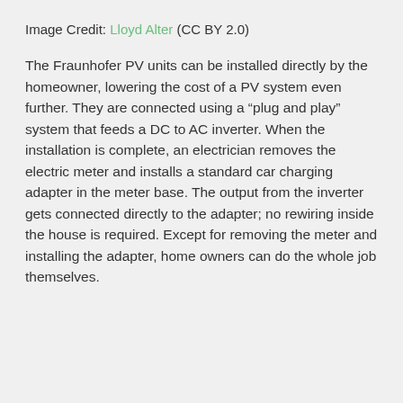Image Credit: Lloyd Alter (CC BY 2.0)
The Fraunhofer PV units can be installed directly by the homeowner, lowering the cost of a PV system even further. They are connected using a “plug and play” system that feeds a DC to AC inverter. When the installation is complete, an electrician removes the electric meter and installs a standard car charging adapter in the meter base. The output from the inverter gets connected directly to the adapter; no rewiring inside the house is required. Except for removing the meter and installing the adapter, home owners can do the whole job themselves.